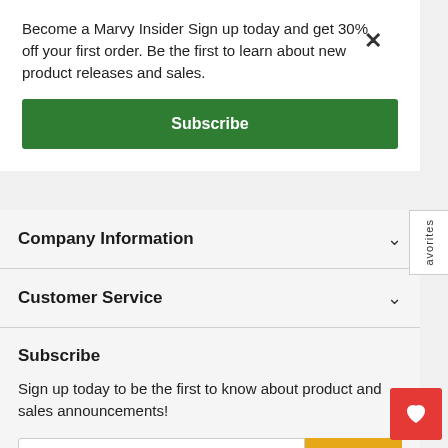Become a Marvy Insider Sign up today and get 30% off your first order. Be the first to learn about new product releases and sales.
Subscribe
Company Information
Customer Service
Subscribe
Sign up today to be the first to know about product and sales announcements!
Email address
Sign Up